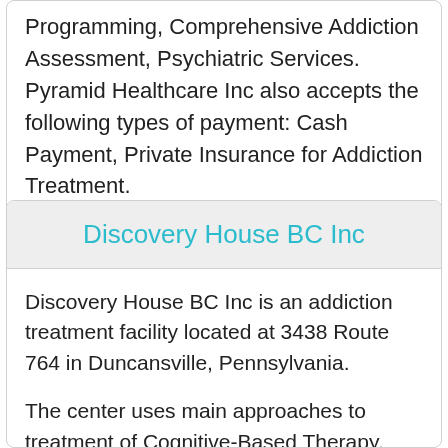Programming, Comprehensive Addiction Assessment, Psychiatric Services. Pyramid Healthcare Inc also accepts the following types of payment: Cash Payment, Private Insurance for Addiction Treatment.
Discovery House BC Inc
Discovery House BC Inc is an addiction treatment facility located at 3438 Route 764 in Duncansville, Pennsylvania.
The center uses main approaches to treatment of Cognitive-Based Therapy, Services to Reduce the Risk of Relapse, 12